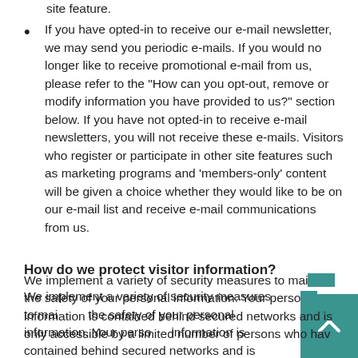site feature.
If you have opted-in to receive our e-mail newsletter, we may send you periodic e-mails. If you would no longer like to receive promotional e-mail from us, please refer to the "How can you opt-out, remove or modify information you have provided to us?" section below. If you have not opted-in to receive e-mail newsletters, you will not receive these e-mails. Visitors who register or participate in other site features such as marketing programs and 'members-only' content will be given a choice whether they would like to be on our e-mail list and receive e-mail communications from us.
How do we protect visitor information?
We implement a variety of security measures to maintain the safety of your personal information. Your personal information is contained behind secured networks and is only accessible by a limited number of persons who have special access rights to such systems, and are required to keep the information confidential.